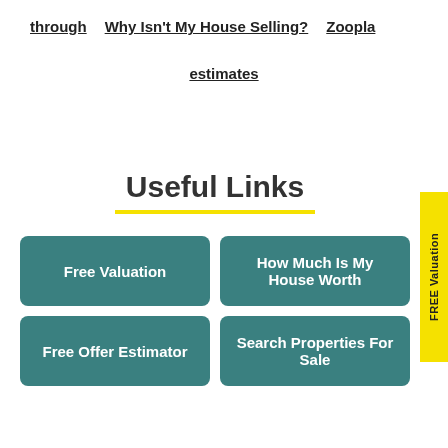through   Why Isn't My House Selling?   Zoopla
estimates
Useful Links
Free Valuation
How Much Is My House Worth
Free Offer Estimator
Search Properties For Sale
FREE Valuation